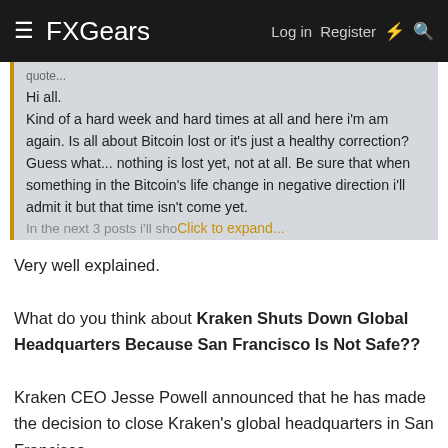FXGears — Log in  Register
Hi all.
Kind of a hard week and hard times at all and here i'm am again. Is all about Bitcoin lost or it's just a healthy correction? Guess what... nothing is lost yet, not at all. Be sure that when something in the Bitcoin's life change in negative direction i'll admit it but that time isn't come yet.
In the next 3 posts i'll show... Click to expand...
Very well explained.

What do you think about Kraken Shuts Down Global Headquarters Because San Francisco Is Not Safe??

Kraken CEO Jesse Powell announced that he has made the decision to close Kraken's global headquarters in San Francisco.
momo3HC
Active Member